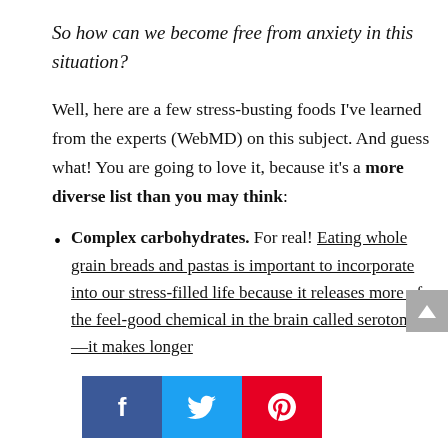So how can we become free from anxiety in this situation?
Well, here are a few stress-busting foods I've learned from the experts (WebMD) on this subject. And guess what! You are going to love it, because it's a more diverse list than you may think:
Complex carbohydrates. For real! Eating whole grain breads and pastas is important to incorporate into our stress-filled life because it releases more of the feel-good chemical in the brain called serotonin—it makes longer
[Figure (infographic): Social sharing bar overlay with Facebook (blue), Twitter (light blue), and Pinterest (red) buttons]